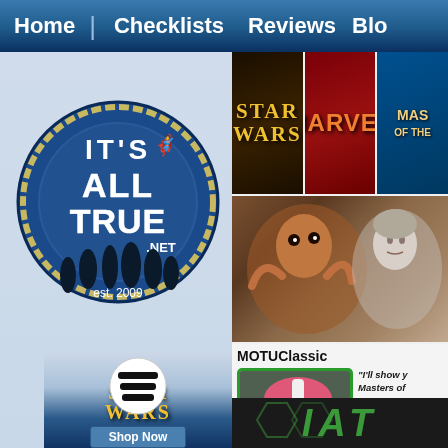Home | Checklists Reviews Blo
[Figure (logo): It's All True .net circular badge logo, est. 2009, blue with silhouettes]
[Figure (logo): Star Wars tile thumbnail - dark background with gold Star Wars text]
[Figure (logo): Marvel tile thumbnail - red background with orange Marvel text]
[Figure (logo): Masters of the Universe tile thumbnail - blue background]
[Figure (photo): Feature photo of action figures - alien/fantasy creatures]
MOTUClassic
[Figure (photo): Green villain action figure with pink helmet, orange faction badge]
"I'll show y Masters of I couldn't te one this yea SDCC Tops streak. I ca Tops got du costs more
[Figure (logo): Star Wars advertisement with Gentle Giant logo and Shop Now button]
[Figure (logo): Bottom strip with green stylized logo letters]